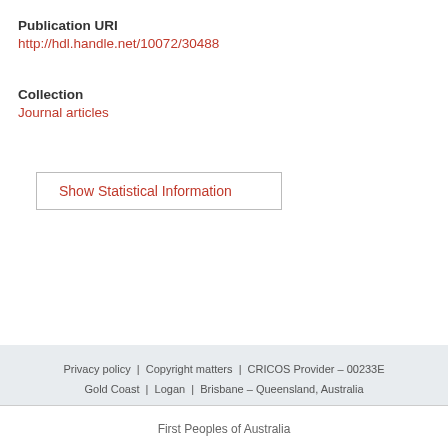Publication URI
http://hdl.handle.net/10072/30488
Collection
Journal articles
Show Statistical Information
Privacy policy | Copyright matters | CRICOS Provider – 00233E
Gold Coast | Logan | Brisbane – Queensland, Australia
First Peoples of Australia